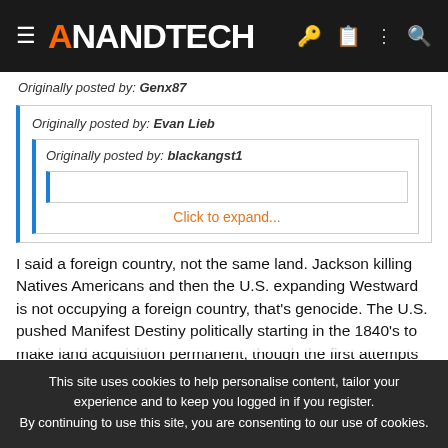AnandTech
Originally posted by: Genx87
Originally posted by: Evan Lieb
Originally posted by: blackangst1
Click to expand...
I said a foreign country, not the same land. Jackson killing Natives Americans and then the U.S. expanding Westward is not occupying a foreign country, that's genocide. The U.S. pushed Manifest Destiny politically starting in the 1840's to make land acquisition permanent, though the first attempts to make land acquisition permanent was after Jefferson's Louisiana Purchase 40 years earlier. So that wasn't
This site uses cookies to help personalise content, tailor your experience and to keep you logged in if you register.
By continuing to use this site, you are consenting to our use of cookies.